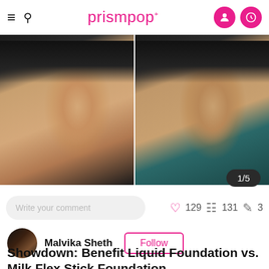prismpop
[Figure (photo): Side-by-side before and after face photos of a woman with straight dark hair, showing skin with and without foundation makeup, profile/three-quarter view]
1/5
Write your comment   ♡ 129   ≡ 131   ✎ 3
Malvika Sheth  Follow
Showdown: Benefit Liquid Foundation vs. Milk Flex Stick Foundation